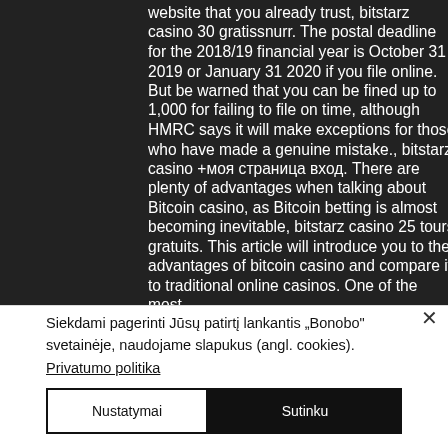website that you already trust, bitstarz casino 30 gratissnurr. The postal deadline for the 2018/19 financial year is October 31 2019 or January 31 2020 if you file online. But be warned that you can be fined up to 1,000 for failing to file on time, although HMRC says it will make exceptions for those who have made a genuine mistake., bitstarz casino +моя страница вход. There are plenty of advantages when talking about Bitcoin casino, as Bitcoin betting is almost becoming inevitable, bitstarz casino 25 tours gratuits. This article will introduce you to the advantages of bitcoin casino and compare it to traditional online casinos. One of the most
Siekdami pagerinti Jūsų patirtį lankantis „Bonobo" svetainėje, naudojame slapukus (angl. cookies). Privatumo politika
Nustatymai
Sutinku